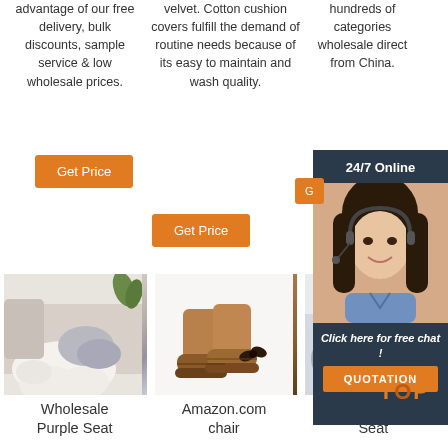advantage of our free delivery, bulk discounts, sample service & low wholesale prices.
[Figure (other): Orange 'Get Price' button for column 1]
velvet. Cotton cushion covers fulfill the demand of routine needs because of its easy to maintain and wash quality.
[Figure (other): Orange 'Get Price' button for column 2]
hundreds of categories wholesale direct from China.
[Figure (other): Dark panel with 24/7 Online label, customer service photo, 'Click here for free chat!' text, and QUOTATION orange button]
[Figure (photo): Wholesale sheepskin/fluffy white rug on floor near sofa]
[Figure (photo): Brown suede UGG-style boots on white background]
[Figure (photo): Sheepskin/fluffy grey cushions on black metal frame furniture]
Wholesale Purple Seat
Amazon.com chair
Sheepskin Seat